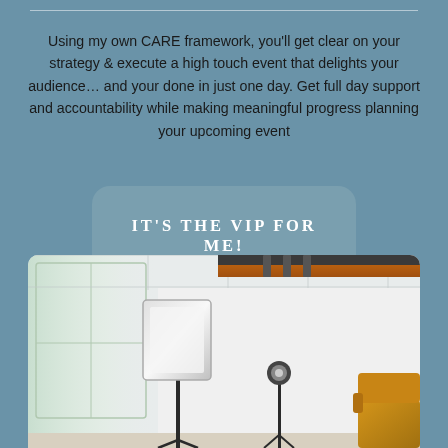Using my own CARE framework, you'll get clear on your strategy & execute a high touch event that delights your audience… and your done in just one day. Get full day support and accountability while making meaningful progress planning your upcoming event
IT'S THE VIP FOR ME!
[Figure (photo): Photography studio interior with professional lighting equipment (softbox on stand, and a second light stand), a window on the left providing natural light, a ceiling roller backdrop system with dark and tan/orange backdrop rolls, white walls and ceiling with grid tiles, and a yellow/mustard armchair partially visible on the right.]